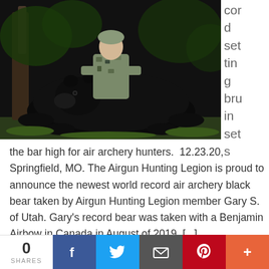[Figure (photo): Hunter in camouflage kneeling behind a large harvested black bear in a nighttime outdoor setting with trees in background]
cor d set tin g bru in set s
the bar high for air archery hunters.  12.23.20, Springfield, MO. The Airgun Hunting Legion is proud to announce the newest world record air archery black bear taken by Airgun Hunting Legion member Gary S. of Utah. Gary's record bear was taken with a Benjamin Airbow in Canada in August of 2019. [...]
0 SHARES
[Figure (other): Social share buttons bar: Facebook, Twitter, Email, Pinterest, More]